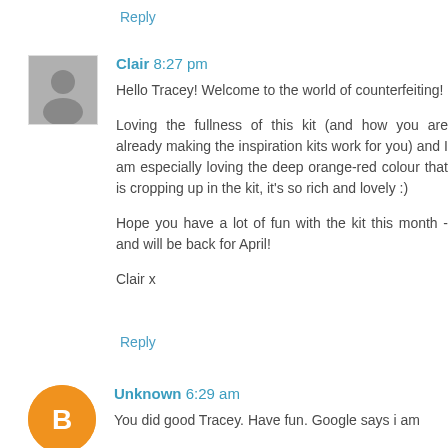Reply
Clair 8:27 pm
Hello Tracey! Welcome to the world of counterfeiting!

Loving the fullness of this kit (and how you are already making the inspiration kits work for you) and I am especially loving the deep orange-red colour that is cropping up in the kit, it's so rich and lovely :)

Hope you have a lot of fun with the kit this month - and will be back for April!

Clair x
Reply
Unknown 6:29 am
You did good Tracey. Have fun. Google says i am